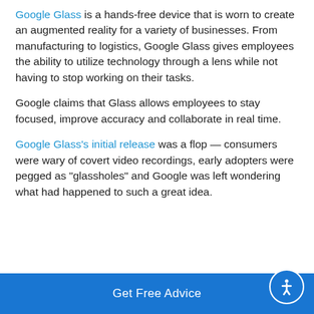Google Glass is a hands-free device that is worn to create an augmented reality for a variety of businesses. From manufacturing to logistics, Google Glass gives employees the ability to utilize technology through a lens while not having to stop working on their tasks.
Google claims that Glass allows employees to stay focused, improve accuracy and collaborate in real time.
Google Glass's initial release was a flop — consumers were wary of covert video recordings, early adopters were pegged as "glassholes" and Google was left wondering what had happened to such a great idea.
Get Free Advice